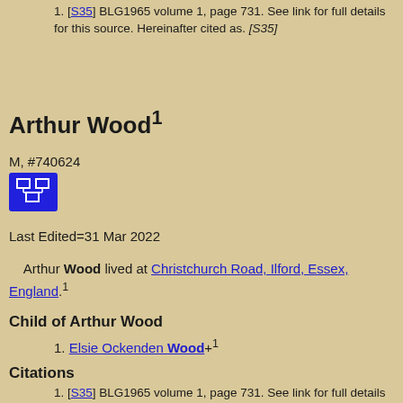1. [S35] BLG1965 volume 1, page 731. See link for full details for this source. Hereinafter cited as. [S35]
Arthur Wood¹
M, #740624
Last Edited=31 Mar 2022
Arthur Wood lived at Christchurch Road, Ilford, Essex, England.¹
Child of Arthur Wood
1. Elsie Ockenden Wood+¹
Citations
1. [S35] BLG1965 volume 1, page 731. See link for full details for this source. Hereinafter cited as. [S35]